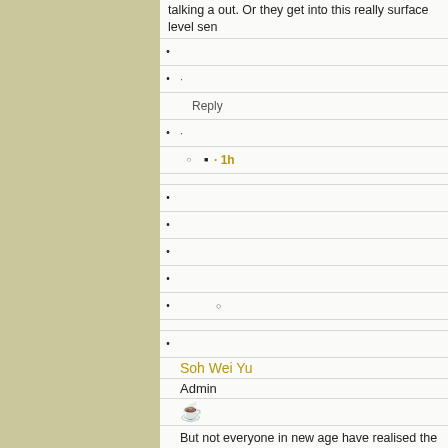talking a out. Or they get into this really surface level sen
·
Reply
·
· 1h
Soh Wei Yu
Admin
[Figure (illustration): Coffee cup emoji]
But not everyone in new age have realised the I AM Presence some, a minority truly realises it.
·
Reply